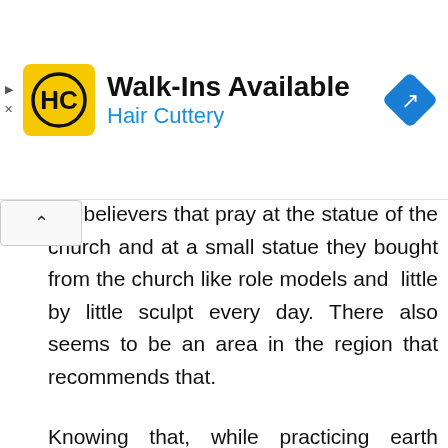[Figure (infographic): Hair Cuttery advertisement banner with HC logo on yellow background, 'Walk-Ins Available' title, 'Hair Cuttery' subtitle in blue, and a blue navigation/directions diamond icon on the right.]
out believers that pray at the statue of the church and at a small statue they bought from the church like role models and  little by little sculpt every day. There also seems to be an area in the region that recommends that.
Knowing that, while practicing earth magic, I made a statue of the gods, as a sign of gratitude, and I put it in my training area. It feels like the home shrine of the dojo in my past life.